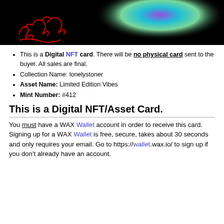[Figure (illustration): Dark background artwork showing a colorful abstract shape (purple/teal/green glowing form) with red hand-drawn scribble/signature in the lower left corner, on a black background.]
This is a Digital NFT card. There will be no physical card sent to the buyer. All sales are final.
Collection Name: lonelystoner
Asset Name: Limited Edition Vibes
Mint Number: #412
This is a Digital NFT/Asset Card.
You must have a WAX Wallet account in order to receive this card. Signing up for a WAX Wallet is free, secure, takes about 30 seconds and only requires your email. Go to https://wallet.wax.io/ to sign up if you don't already have an account.